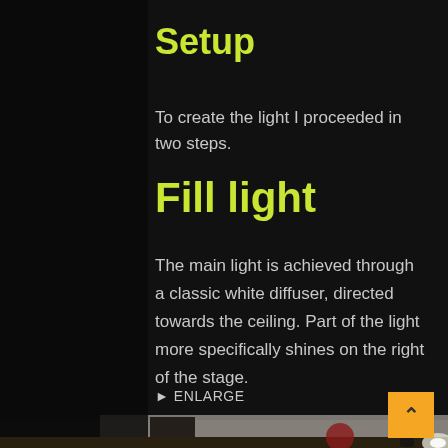Setup
To create the light I proceeded in two steps.
Fill light
The main light is achieved through a classic white diffuser, directed towards the ceiling. Part of the light more specifically shines on the right of the stage.
▸ ENLARGE
[Figure (photo): Dark room photo showing lighting setup with diffuser and lights on the floor near a white wall]